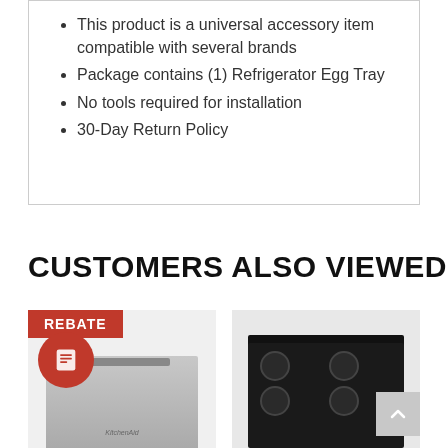This product is a universal accessory item compatible with several brands
Package contains (1) Refrigerator Egg Tray
No tools required for installation
30-Day Return Policy
CUSTOMERS ALSO VIEWED
[Figure (photo): Stainless steel dishwasher with REBATE badge and rebate icon]
[Figure (photo): Black electric range/stove with four burners]